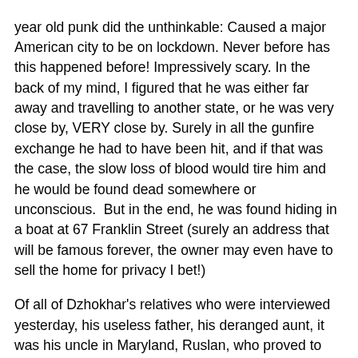year old punk did the unthinkable: Caused a major American city to be on lockdown. Never before has this happened before! Impressively scary. In the back of my mind, I figured that he was either far away and travelling to another state, or he was very close by, VERY close by. Surely in all the gunfire exchange he had to have been hit, and if that was the case, the slow loss of blood would tire him and he would be found dead somewhere or unconscious.  But in the end, he was found hiding in a boat at 67 Franklin Street (surely an address that will be famous forever, the owner may even have to sell the home for privacy I bet!)
Of all of Dzhokhar's relatives who were interviewed yesterday, his useless father, his deranged aunt, it was his uncle in Maryland, Ruslan, who proved to me the most decent and intelligent. It is now no wonder why Dzhokhar eventually turned on the city and country that raised him. It's too bad that this bastard could not assimilate into American society and instead of moving out of the country, he choose to help build bombs that killed 3 people, injured around 180 people (permanently maiming most of them for life). He then went on to help assassinate an MIT officer, and seriously